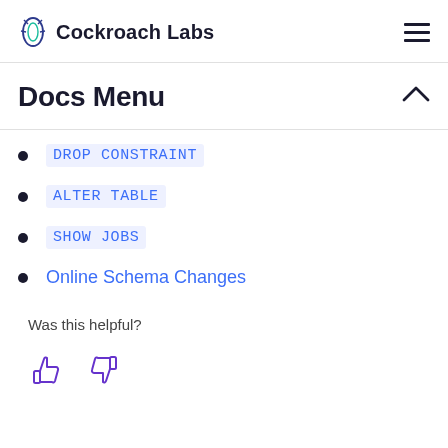Cockroach Labs
Docs Menu
DROP CONSTRAINT
ALTER TABLE
SHOW JOBS
Online Schema Changes
Was this helpful?